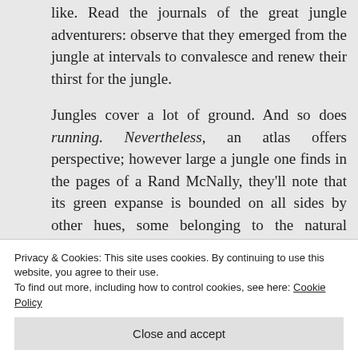like. Read the journals of the great jungle adventurers: observe that they emerged from the jungle at intervals to convalesce and renew their thirst for the jungle.
Jungles cover a lot of ground. And so does running. Nevertheless, an atlas offers perspective; however large a jungle one finds in the pages of a Rand McNally, they'll note that its green expanse is bounded on all sides by other hues, some belonging to the natural palette, some symbolizing the handiwork of man. Our world is
Privacy & Cookies: This site uses cookies. By continuing to use this website, you agree to their use.
To find out more, including how to control cookies, see here: Cookie Policy
atlas's legend if you must; it is a reminder of our